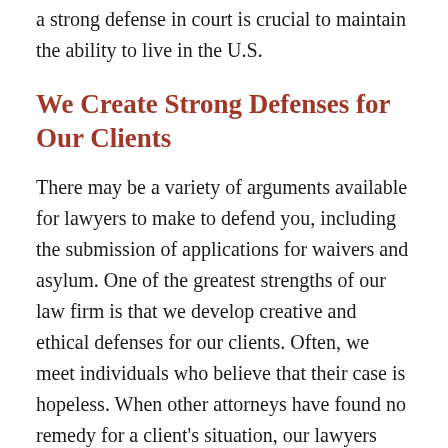a strong defense in court is crucial to maintain the ability to live in the U.S.
We Create Strong Defenses for Our Clients
There may be a variety of arguments available for lawyers to make to defend you, including the submission of applications for waivers and asylum. One of the greatest strengths of our law firm is that we develop creative and ethical defenses for our clients. Often, we meet individuals who believe that their case is hopeless. When other attorneys have found no remedy for a client’s situation, our lawyers find a way. We simply do not take “no” for an answer; we find a way to give our clients hope. Some of the deportation defenses we are experienced in seeking